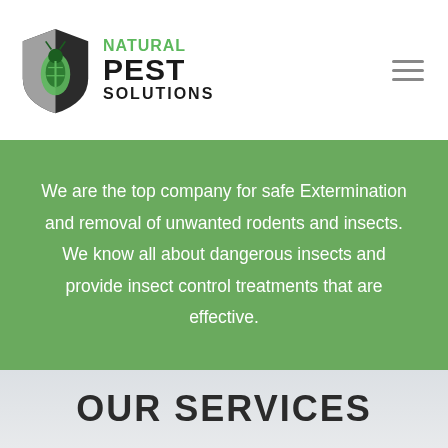[Figure (logo): Natural Pest Solutions logo with shield icon containing a green bug/beetle and the company name 'NATURAL PEST SOLUTIONS' in green and black text]
We are the top company for safe Extermination and removal of unwanted rodents and insects. We know all about dangerous insects and provide insect control treatments that are effective.
OUR SERVICES
Pest Management Services